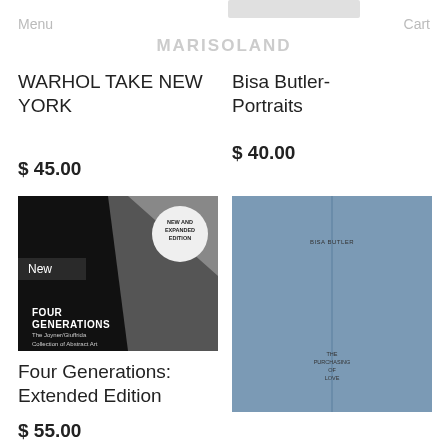Menu
MARISOLAND
Cart
WARHOL TAKE NEW YORK
$ 45.00
Bisa Butler- Portraits
$ 40.00
[Figure (photo): Book cover: Four Generations – The Joyner/Giuffrida Collection of Abstract Art, new and expanded edition. Dark geometric cover with white circle badge.]
Four Generations: Extended Edition
$ 55.00
[Figure (photo): Book cover: A blue/slate colored cover with spine line and small text, likely for a slim art or essay book.]